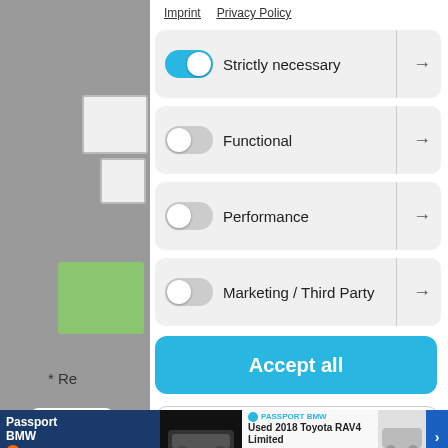Imprint   Privacy Policy
Strictly necessary →
Functional →
Performance →
Marketing / Third Party →
Accept all
Accept only selected
* Re
[Figure (screenshot): Advertisement banner: Passport BMW – Used 2018 Toyota RAV4 Limited $31,995 with View Details button and car images]